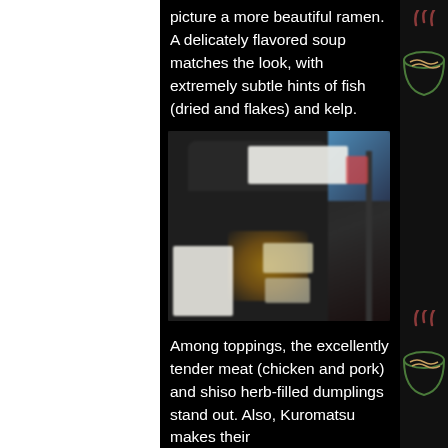picture a more beautiful ramen. A delicately flavored soup matches the look, with extremely subtle hints of fish (dried and flakes) and kelp.
[Figure (photo): Exterior of a ramen restaurant at night, showing a dark facade with white signs/menu boards and warm interior lighting visible through the entrance.]
Among toppings, the excellently tender meat (chicken and pork) and shiso herb-filled dumplings stand out. Also, Kuromatsu makes their